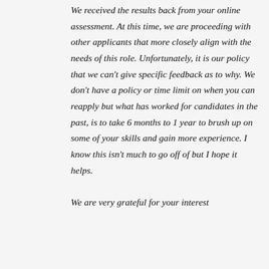We received the results back from your online assessment. At this time, we are proceeding with other applicants that more closely align with the needs of this role. Unfortunately, it is our policy that we can't give specific feedback as to why. We don't have a policy or time limit on when you can reapply but what has worked for candidates in the past, is to take 6 months to 1 year to brush up on some of your skills and gain more experience. I know this isn't much to go off of but I hope it helps.

We are very grateful for your interest